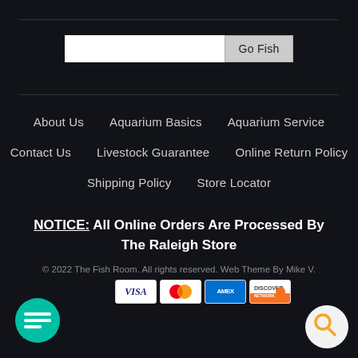[Figure (other): Search bar with white input field and 'Go Fish' button]
About Us
Aquarium Basics
Aquarium Service
Contact Us
Livestock Guarantee
Online Return Policy
Shipping Policy
Store Locator
NOTICE: All Online Orders Are Processed By The Raleigh Store
© 2022 The Fish Room. All rights reserved. Web Theme By Mike V.